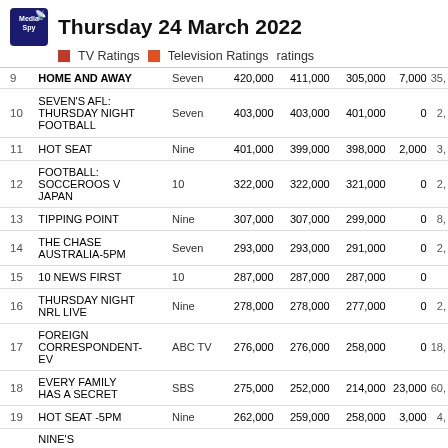Thursday 24 March 2022 — TV Ratings | Television Ratings ratings
| # | Show | Network | Col1 | Col2 | Col3 | Col4 | Col5 |
| --- | --- | --- | --- | --- | --- | --- | --- |
| 9 | HOME AND AWAY | Seven | 420,000 | 411,000 | 305,000 | 7,000 | 35,... |
| 10 | SEVEN'S AFL: THURSDAY NIGHT FOOTBALL | Seven | 403,000 | 403,000 | 401,000 | 0 | 2,... |
| 11 | HOT SEAT | Nine | 401,000 | 399,000 | 398,000 | 2,000 | 3,... |
| 12 | FOOTBALL: SOCCEROOS V JAPAN | 10 | 322,000 | 322,000 | 321,000 | 0 | 2,... |
| 13 | TIPPING POINT | Nine | 307,000 | 307,000 | 299,000 | 0 | 8,... |
| 14 | THE CHASE AUSTRALIA-5PM | Seven | 293,000 | 293,000 | 291,000 | 0 | 2,... |
| 15 | 10 NEWS FIRST | 10 | 287,000 | 287,000 | 287,000 | 0 |  |
| 16 | THURSDAY NIGHT NRL LIVE | Nine | 278,000 | 278,000 | 277,000 | 0 | 2,... |
| 17 | FOREIGN CORRESPONDENT-EV | ABC TV | 276,000 | 276,000 | 258,000 | 0 | 18,... |
| 18 | EVERY FAMILY HAS A SECRET | SBS | 275,000 | 252,000 | 214,000 | 23,000 | 60,... |
| 19 | HOT SEAT -5PM | Nine | 262,000 | 259,000 | 258,000 | 3,000 | 4,... |
| 20 | NINE'S |  |  |  |  |  |  |